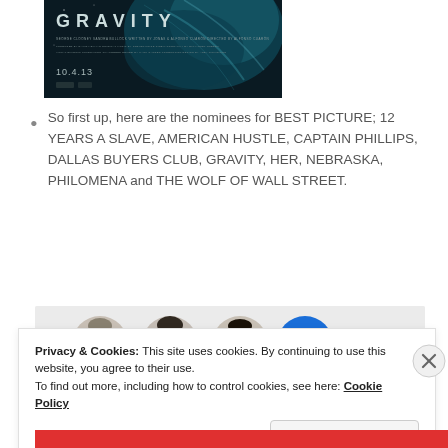[Figure (photo): Movie poster for GRAVITY with dark teal/blue tones, title text GRAVITY and date 10.4.13]
So first up, here are the nominees for BEST PICTURE; 12 YEARS A SLAVE, AMERICAN HUSTLE, CAPTAIN PHILLIPS, DALLAS BUYERS CLUB, GRAVITY, HER, NEBRASKA, PHILOMENA and THE WOLF OF WALL STREET.
[Figure (photo): Row of profile/avatar photos of people, partially visible]
Privacy & Cookies: This site uses cookies. By continuing to use this website, you agree to their use.
To find out more, including how to control cookies, see here: Cookie Policy
Close and accept